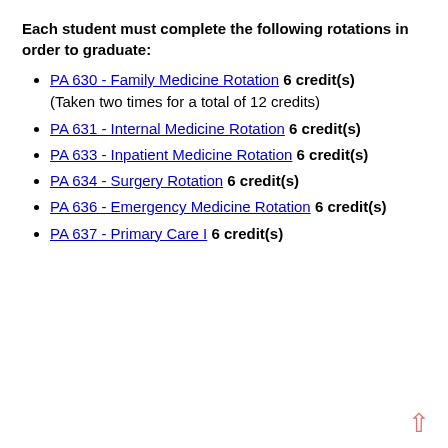Each student must complete the following rotations in order to graduate:
PA 630 - Family Medicine Rotation 6 credit(s)
(Taken two times for a total of 12 credits)
PA 631 - Internal Medicine Rotation 6 credit(s)
PA 633 - Inpatient Medicine Rotation 6 credit(s)
PA 634 - Surgery Rotation 6 credit(s)
PA 636 - Emergency Medicine Rotation 6 credit(s)
PA 637 - Primary Care I 6 credit(s)